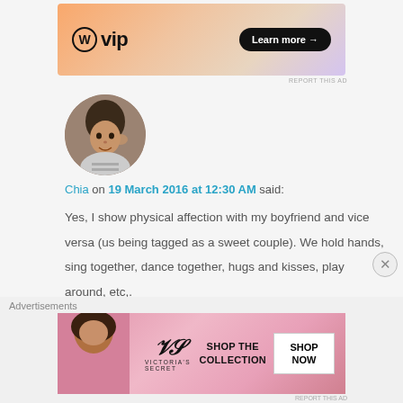[Figure (screenshot): WordPress VIP advertisement banner with orange gradient background, WordPress logo, 'vip' text, and 'Learn more →' button]
REPORT THIS AD
[Figure (photo): Circular avatar photo of a young woman]
Chia on 19 March 2016 at 12:30 AM said:
Yes, I show physical affection with my boyfriend and vice versa (us being tagged as a sweet couple). We hold hands, sing together, dance together, hugs and kisses, play around, etc,.
Your post is quite eye opening, because I always thought that people who doesn't show physical
Advertisements
[Figure (screenshot): Victoria's Secret advertisement with pink background, VS logo, 'SHOP THE COLLECTION' text, 'SHOP NOW' button, and model photo]